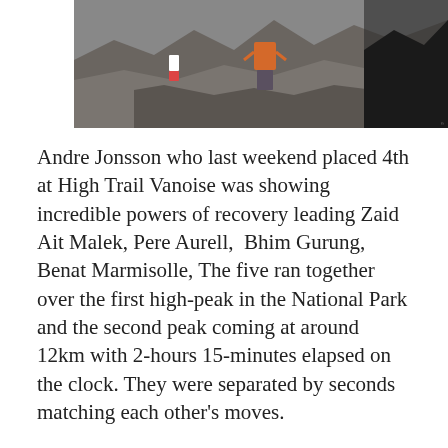[Figure (photo): Trail runners on rocky mountain terrain, one in orange shirt visible in foreground, another in white shirt further back, rocky landscape with boulders]
Andre Jonsson who last weekend placed 4th at High Trail Vanoise was showing incredible powers of recovery leading Zaid Ait Malek, Pere Aurell,  Bhim Gurung, Benat Marmisolle, The five ran together over the first high-peak in the National Park and the second peak coming at around 12km with 2-hours 15-minutes elapsed on the clock. They were separated by seconds matching each other's moves.
[Figure (photo): Snow-covered terrain or rocky surface seen from above, with 'ian' watermark text in lower left area]